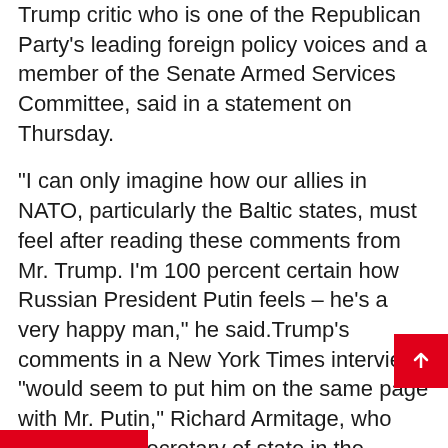Trump critic who is one of the Republican Party's leading foreign policy voices and a member of the Senate Armed Services Committee, said in a statement on Thursday.
"I can only imagine how our allies in NATO, particularly the Baltic states, must feel after reading these comments from Mr. Trump. I'm 100 percent certain how Russian President Putin feels – he's a very happy man," he said.Trump's comments in a New York Times interview "would seem to put him on the same page with Mr. Putin," Richard Armitage, who was deputy secretary of state in the George W. Bush administration, said in an interview with Reuters.